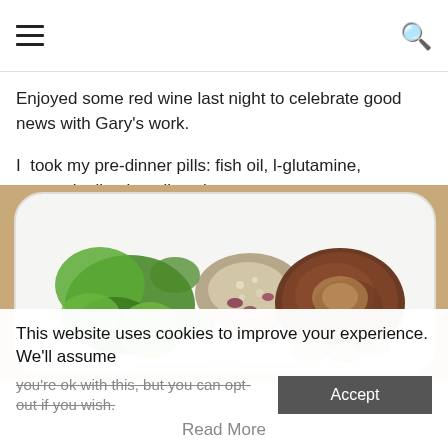Navigation header with hamburger menu and search icon
Enjoyed some red wine last night to celebrate good news with Gary's work.
I  took my pre-dinner pills: fish oil, l-glutamine,  quercetin, licorice, digestive enzyme.
[Figure (photo): A white rectangular plate with a meal: a beef patty, sauerkraut or fermented vegetables, green salad leaves, avocado, and cucumber slices on a wooden table background.]
This website uses cookies to improve your experience. We'll assume you're ok with this, but you can opt-out if you wish.
Read More